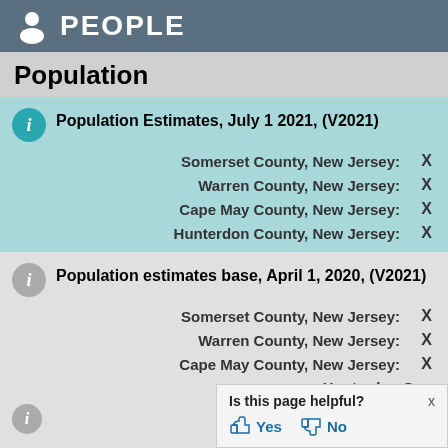PEOPLE
Population
Population Estimates, July 1 2021, (V2021)
Somerset County, New Jersey: X
Warren County, New Jersey: X
Cape May County, New Jersey: X
Hunterdon County, New Jersey: X
Population estimates base, April 1, 2020, (V2021)
Somerset County, New Jersey: X
Warren County, New Jersey: X
Cape May County, New Jersey: X
Hunterdon County, New Jersey: X
Is this page helpful? Yes No